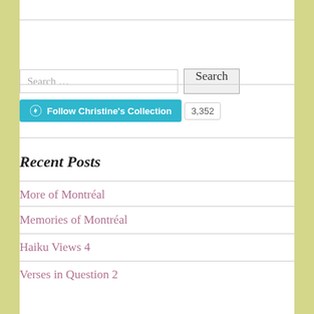[Figure (other): Search bar with text 'Search ...' and a 'Search' button]
[Figure (other): Follow Christine's Collection button with WordPress icon and follower count 3,352]
Recent Posts
More of Montréal
Memories of Montréal
Haiku Views 4
Verses in Question 2